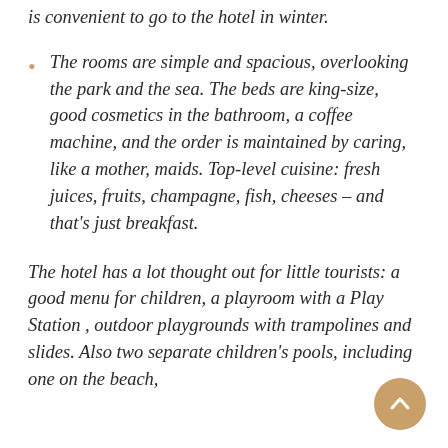is convenient to go to the hotel in winter.
The rooms are simple and spacious, overlooking the park and the sea. The beds are king-size, good cosmetics in the bathroom, a coffee machine, and the order is maintained by caring, like a mother, maids. Top-level cuisine: fresh juices, fruits, champagne, fish, cheeses – and that's just breakfast.
The hotel has a lot thought out for little tourists: a good menu for children, a playroom with a Play Station , outdoor playgrounds with trampolines and slides. Also two separate children's pools, including one on the beach,